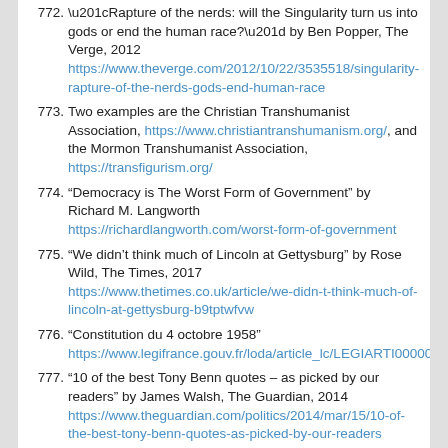772. “Rapture of the nerds: will the Singularity turn us into gods or end the human race?” by Ben Popper, The Verge, 2012 https://www.theverge.com/2012/10/22/3535518/singularity-rapture-of-the-nerds-gods-end-human-race
773. Two examples are the Christian Transhumanist Association, https://www.christiantranshumanism.org/, and the Mormon Transhumanist Association, https://transfigurism.org/
774. “Democracy is The Worst Form of Government” by Richard M. Langworth https://richardlangworth.com/worst-form-of-government
775. “We didn’t think much of Lincoln at Gettysburg” by Rose Wild, The Times, 2017 https://www.thetimes.co.uk/article/we-didn-t-think-much-of-lincoln-at-gettysburg-b9tptwfvw
776. “Constitution du 4 octobre 1958” https://www.legifrance.gouv.fr/loda/article_lc/LEGIARTI00000652745
777. “10 of the best Tony Benn quotes – as picked by our readers” by James Walsh, The Guardian, 2014 https://www.theguardian.com/politics/2014/mar/15/10-of-the-best-tony-benn-quotes-as-picked-by-our-readers
778. “Tony Benn and the Five Essential Questions of…